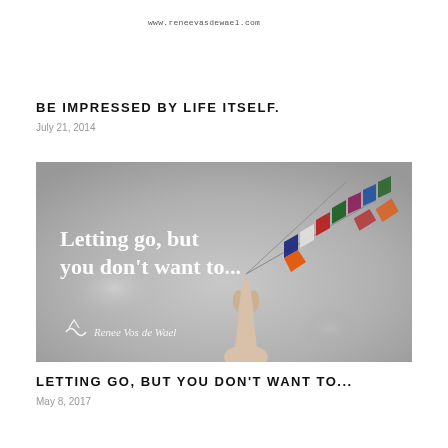www.reneevasdewael.com
BE IMPRESSED BY LIFE ITSELF.
July 21, 2014
[Figure (photo): Photo of a hand holding colorful prayer flags blowing in the wind against a grey sky, with overlaid white text reading 'Letting go, but you don't want to...' and a Renee Vos de Wael logo/signature in the lower left.]
LETTING GO, BUT YOU DON'T WANT TO...
May 8, 2017